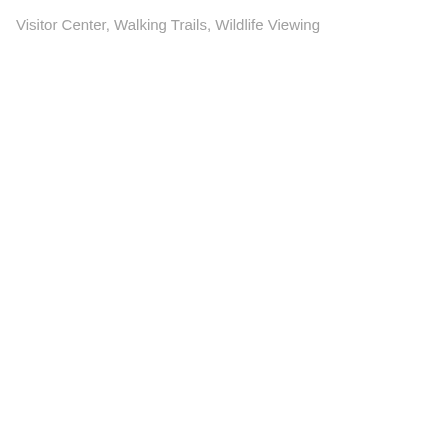Visitor Center, Walking Trails, Wildlife Viewing